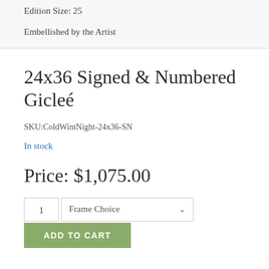Edition Size: 25
Embellished by the Artist
24x36 Signed & Numbered Gicleé
SKU:ColdWintNight-24x36-SN
In stock
Price: $1,075.00